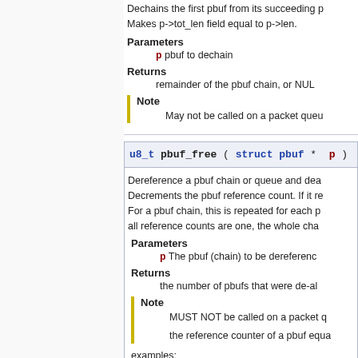Dechains the first pbuf from its succeeding p
Makes p->tot_len field equal to p->len.
Parameters
p pbuf to dechain
Returns
remainder of the pbuf chain, or NUL
Note
May not be called on a packet queu
u8_t pbuf_free ( struct pbuf *  p )
Dereference a pbuf chain or queue and dea
Decrements the pbuf reference count. If it re
For a pbuf chain, this is repeated for each p
all reference counts are one, the whole cha
Parameters
p The pbuf (chain) to be dereferenc
Returns
the number of pbufs that were de-al
Note
MUST NOT be called on a packet q
the reference counter of a pbuf equa
examples:
Assuming existing chains a->b->c with the fo
1->2->3 becomes ...1->3 3->3->3 becomes ...